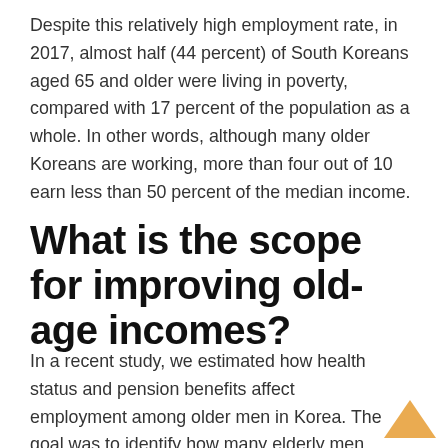Despite this relatively high employment rate, in 2017, almost half (44 percent) of South Koreans aged 65 and older were living in poverty, compared with 17 percent of the population as a whole. In other words, although many older Koreans are working, more than four out of 10 earn less than 50 percent of the median income.
What is the scope for improving old-age incomes?
In a recent study, we estimated how health status and pension benefits affect employment among older men in Korea. The goal was to identify how many elderly men are not working but could and